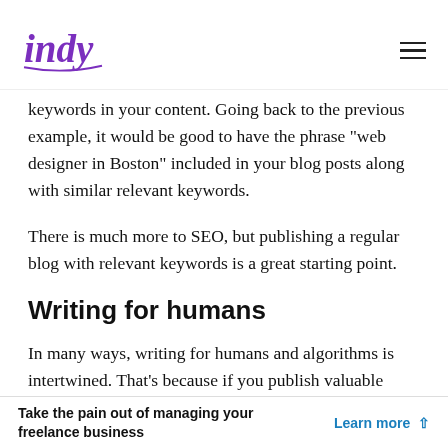indy (logo) | hamburger menu
keywords in your content. Going back to the previous example, it would be good to have the phrase "web designer in Boston" included in your blog posts along with similar relevant keywords.
There is much more to SEO, but publishing a regular blog with relevant keywords is a great starting point.
Writing for humans
In many ways, writing for humans and algorithms is intertwined. That's because if you publish valuable
Take the pain out of managing your freelance business  Learn more ^